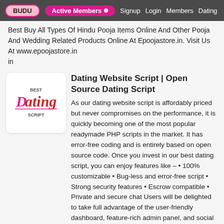BUDU | Active Members • | Signup | Login | Members | Dating
Best Buy All Types Of Hindu Pooja Items Online And Other Pooja And Wedding Related Products Online At Epoojastore.in. Visit Us At www.epoojastore.in in
[Figure (logo): Best Dating Script logo — stylized text in pink and red on white rounded square background]
Dating Website Script | Open Source Dating Script
As our dating website script is affordably priced but never compromises on the performance, it is quickly becoming one of the most popular readymade PHP scripts in the market. It has error-free coding and is entirely based on open source code. Once you invest in our best dating script, you can enjoy features like – • 100% customizable • Bug-less and error-free script • Strong security features • Escrow compatible • Private and secure chat Users will be delighted to take full advantage of the user-friendly dashboard, feature-rich admin panel, and social media sign-up/login functionality.
in Kolkata
Feedback